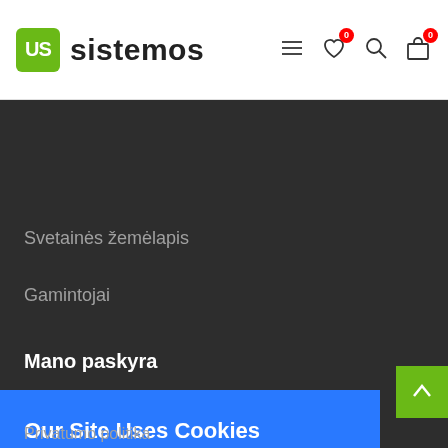US sistemos
Svetainės žemėlapis
Gamintojai
Mano paskyra
Our Site Uses Cookies
By clicking Agree, you agree to our terms of service , privacy policy and cookies policy .
Opt Out
Allow cookies
Privatumo politika